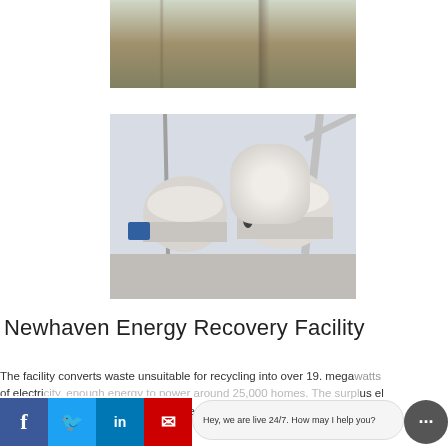[Figure (photo): Construction site with cranes and industrial equipment, wide shot]
[Figure (photo): Close-up of large industrial crusher/mill machinery on concrete platform with crane arm visible]
Newhaven Energy Recovery Facility
The facility converts waste unsuitable for recycling into over 19. megawatts of electricity, enough energy to power around 25,000 homes. The surplus electricity is exported to the National Grid. The Energy Recovery